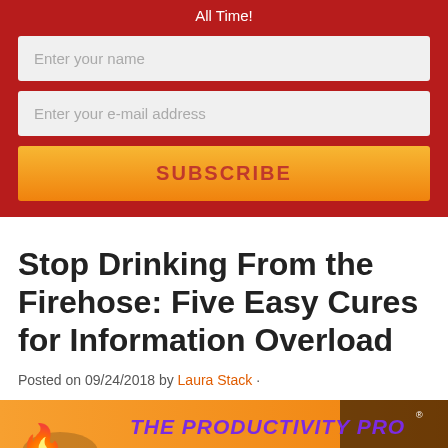All Time!
[Figure (screenshot): Email subscription form with fields for name and email address, and an orange SUBSCRIBE button, on a dark red background]
Stop Drinking From the Firehose: Five Easy Cures for Information Overload
Posted on 09/24/2018 by Laura Stack ·
[Figure (logo): The Productivity Pro logo banner with orange background, purple bold italic text and a character illustration]